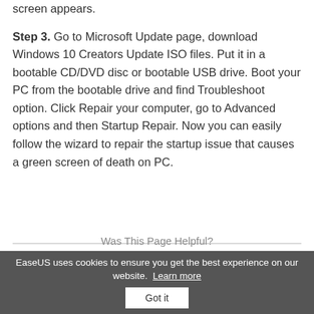latest update. Restart your PC to check if the green screen appears.
Step 3. Go to Microsoft Update page, download Windows 10 Creators Update ISO files. Put it in a bootable CD/DVD disc or bootable USB drive. Boot your PC from the bootable drive and find Troubleshoot option. Click Repair your computer, go to Advanced options and then Startup Repair. Now you can easily follow the wizard to repair the startup issue that causes a green screen of death on PC.
Was This Page Helpful?
EaseUS uses cookies to ensure you get the best experience on our website.  Learn more  Got it